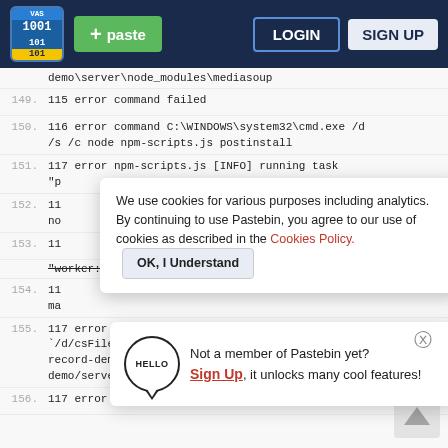Pastebin header with logo, paste button, login and sign up
demo\server\node_modules\mediasoup
149.  115 error command failed
150.  116 error command C:\WINDOWS\system32\cmd.exe /d /s /c node npm-scripts.js postinstall
151.  117 error npm-scripts.js [INFO] running task "p
152.  11 no
153.  11
"worker:build"
154.  11 ma
155.  117 error make: Entering directory `/d/csFiles/psuFiles/springTerm2022/mediasoup3-record-demo/mediasoup3-record-demo/server/node_modules/mediasoup/worker'
156.  117 error # Updated pip and setuptools are needed
Cookie notice: We use cookies for various purposes including analytics. By continuing to use Pastebin, you agree to our use of cookies as described in the Cookies Policy. OK, I Understand
Not a member of Pastebin yet? Sign Up, it unlocks many cool features!